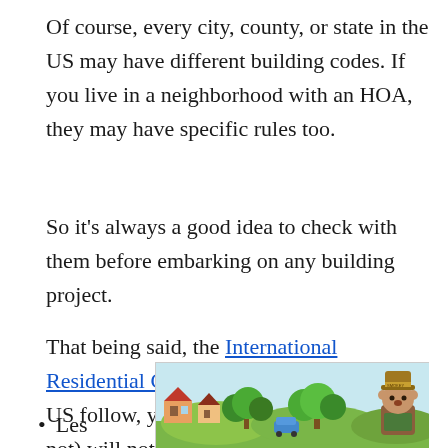Of course, every city, county, or state in the US may have different building codes. If you live in a neighborhood with an HOA, they may have specific rules too.
So it's always a good idea to check with them before embarking on any building project.
That being said, the International Residential Code, which most states in the US follow, your deck (above ground or not) will not need a building permit if it is
Les...
[Figure (illustration): Cartoon illustration of a neighborhood scene with houses, green trees, and a Smokey Bear character on the right side. Appears to be an advertisement banner.]